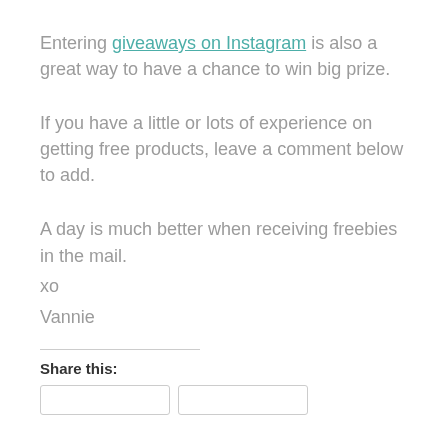Entering giveaways on Instagram is also a great way to have a chance to win big prize.
If you have a little or lots of experience on getting free products, leave a comment below to add.
A day is much better when receiving freebies in the mail.
xo
Vannie
Share this: